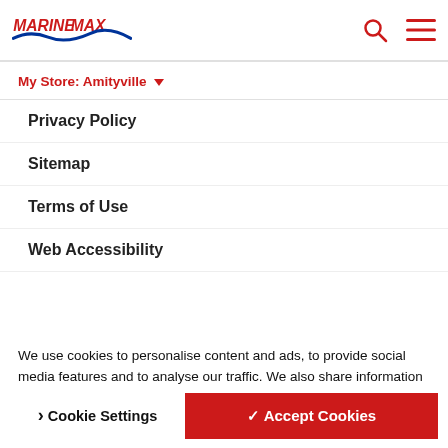[Figure (logo): MarineMax logo with red stylized text and blue wave]
My Store: Amityville
Privacy Policy
Sitemap
Terms of Use
Web Accessibility
EMAIL SIGNUP
We use cookies to personalise content and ads, to provide social media features and to analyse our traffic. We also share information about your use of our site with our social media, advertising and analytics partners.
Cookie Settings
✓ Accept Cookies